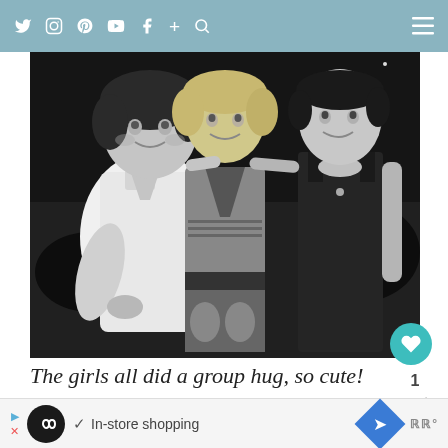Social media navigation bar with icons: Twitter, Instagram, Pinterest, YouTube, Facebook, Plus, Search, and Menu
[Figure (photo): Black and white photo of three women standing together smiling, one in a white shirt, one in a patterned dress, one in a black tank top]
The girls all did a group hug, so cute!
[Figure (photo): Partial black and white photo strip at the bottom, partially visible]
In-store shopping